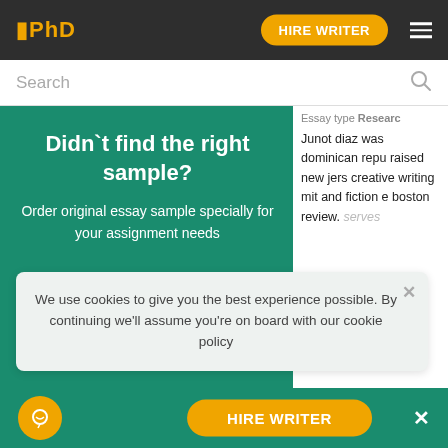🪪PhD | HIRE WRITER
Search
Didn`t find the right sample?
Order original essay sample specially for your assignment needs
Essay type Research
Junot diaz was dominican repu raised new jers creative writing mit and fiction e boston review. serves
We use cookies to give you the best experience possible. By continuing we'll assume you're on board with our cookie policy
HIRE WRITER